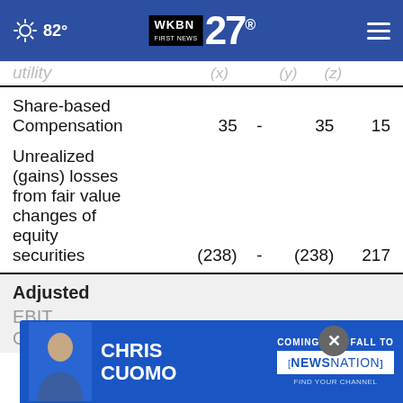WKBN 27 FIRST NEWS — 82°
|  | Col1 | Col2 | Col3 | Col4 |
| --- | --- | --- | --- | --- |
| Share-based Compensation | 35 | - | 35 | 15 |
| Unrealized (gains) losses from fair value changes of equity securities | (238) | - | (238) | 217 |
Adjusted EBIT
GAAP  207  (340)  (133)  209
[Figure (screenshot): Chris Cuomo Coming This Fall to NewsNation advertisement banner]